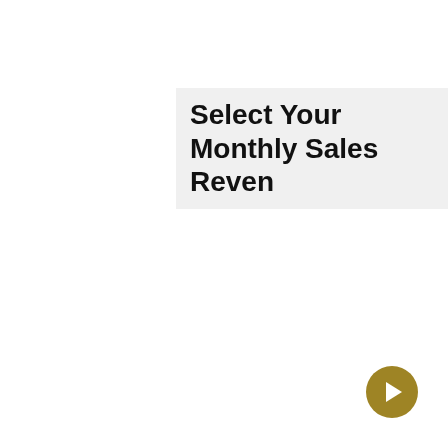Select Your Monthly Sales Revenue
[Figure (other): Gold circular navigation arrow button in bottom-right corner]